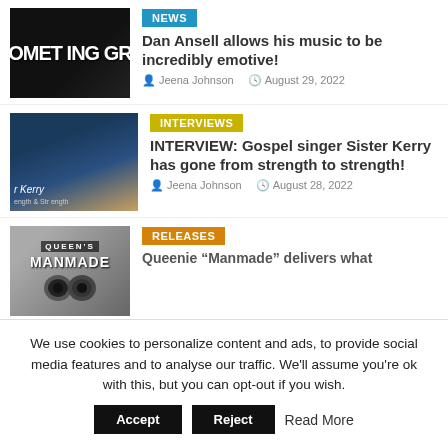[Figure (photo): Dark thumbnail image showing neon sign text 'SOMETHING GRE...']
NEWS
Dan Ansell allows his music to be incredibly emotive!
Jeena Johnson   August 29, 2022
[Figure (photo): Photo of Sister Kerry smiling with choir in background]
INTERVIEWS
INTERVIEW: Gospel singer Sister Kerry has gone from strength to strength!
Jeena Johnson   August 28, 2022
[Figure (photo): Album cover for Queenie Manmade showing text QUEEN'S MANMADE]
RELEASES
Queenie  "Manmade" delivers what
We use cookies to personalize content and ads, to provide social media features and to analyse our traffic. We'll assume you're ok with this, but you can opt-out if you wish.
Accept   Reject   Read More